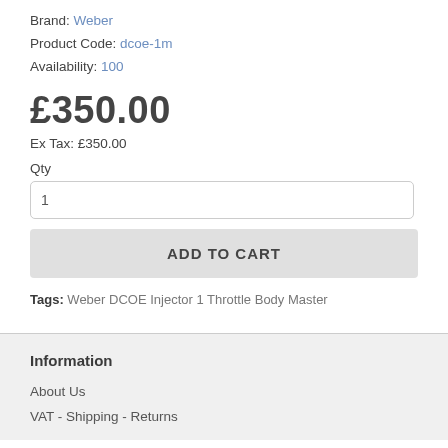Brand: Weber
Product Code: dcoe-1m
Availability: 100
£350.00
Ex Tax: £350.00
Qty
1
ADD TO CART
Tags: Weber DCOE Injector 1 Throttle Body Master
Information
About Us
VAT - Shipping - Returns